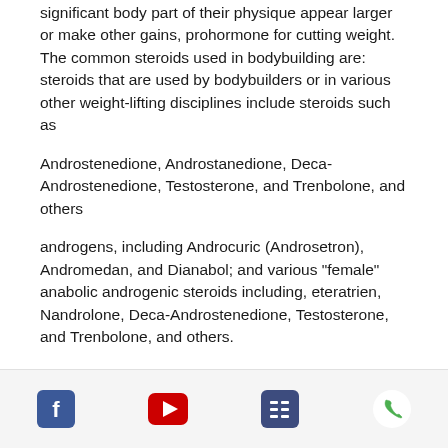significant body part of their physique appear larger or make other gains, prohormone for cutting weight. The common steroids used in bodybuilding are: steroids that are used by bodybuilders or in various other weight-lifting disciplines include steroids such as
Androstenedione, Androstanedione, Deca-Androstenedione, Testosterone, and Trenbolone, and others
androgens, including Androcuric (Androsetron), Andromedan, and Dianabol; and various "female" anabolic androgenic steroids including, eteratrien, Nandrolone, Deca-Androstenedione, Testosterone, and Trenbolone, and others.
Prohormone cutting stack
[Figure (other): Footer bar with four social/contact icons: Facebook (blue), YouTube (red), a list/menu icon (dark blue), and a phone icon (green)]